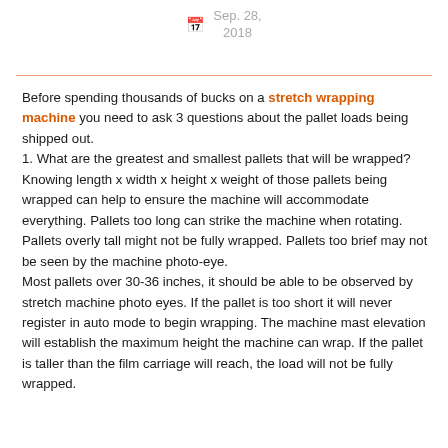Sep. 28, 2018
Before spending thousands of bucks on a stretch wrapping machine you need to ask 3 questions about the pallet loads being shipped out.
1. What are the greatest and smallest pallets that will be wrapped? Knowing length x width x height x weight of those pallets being wrapped can help to ensure the machine will accommodate everything. Pallets too long can strike the machine when rotating. Pallets overly tall might not be fully wrapped. Pallets too brief may not be seen by the machine photo-eye.
Most pallets over 30-36 inches, it should be able to be observed by stretch machine photo eyes. If the pallet is too short it will never register in auto mode to begin wrapping. The machine mast elevation will establish the maximum height the machine can wrap. If the pallet is taller than the film carriage will reach, the load will not be fully wrapped.